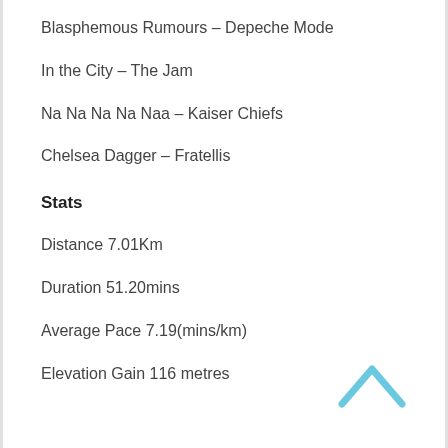Blasphemous Rumours – Depeche Mode
In the City – The Jam
Na Na Na Na Naa – Kaiser Chiefs
Chelsea Dagger – Fratellis
Stats
Distance 7.01Km
Duration 51.20mins
Average Pace 7.19(mins/km)
Elevation Gain 116 metres